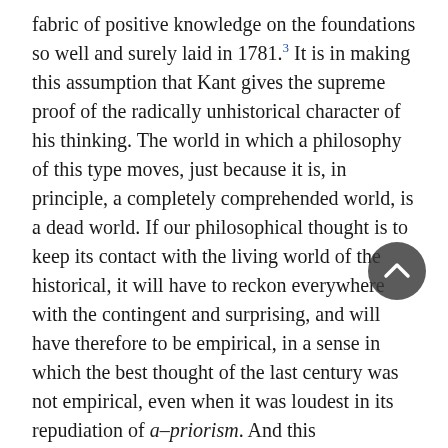fabric of positive knowledge on the foundations so well and surely laid in 1781.³ It is in making this assumption that Kant gives the supreme proof of the radically unhistorical character of his thinking. The world in which a philosophy of this type moves, just because it is, in principle, a completely comprehended world, is a dead world. If our philosophical thought is to keep its contact with the living world of the historical, it will have to reckon everywhere with the contingent and surprising, and will have therefore to be empirical, in a sense in which the best thought of the last century was not empirical, even when it was loudest in its repudiation of a–priorism. And this unavoidable empiricism will be reflected in our interpretation of the claims of the various activities of the mind to autonomy.
True empiricism cannot mean, as has sometimes been